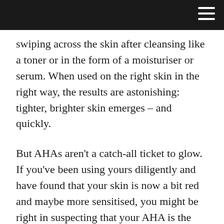swiping across the skin after cleansing like a toner or in the form of a moisturiser or serum. When used on the right skin in the right way, the results are astonishing: tighter, brighter skin emerges – and quickly.
But AHAs aren't a catch-all ticket to glow. If you've been using yours diligently and have found that your skin is now a bit red and maybe more sensitised, you might be right in suspecting that your AHA is the cause.
Pam Marshall, Clinical Aesthetician at Mortar & Milk, explains: “AHAs create a controlled wound – which will instigate collagen and